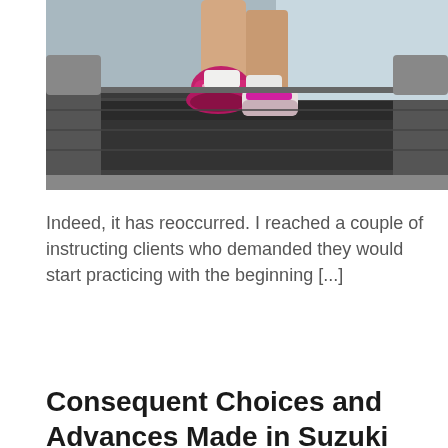[Figure (photo): Person running on a treadmill, viewed from behind at foot level, wearing pink and white running shoes and white socks. The treadmill belt and gym environment are visible.]
Indeed, it has reoccurred. I reached a couple of instructing clients who demanded they would start practicing with the beginning [...]
Read more →
Consequent Choices and Advances Made in Suzuki Carry Pro